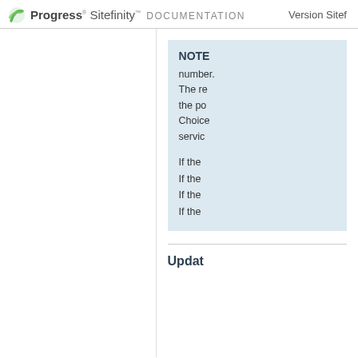Progress Sitefinity DOCUMENTATION   Version Sitef...
NOTE number. The re the po Choice servic If the If the If the If the
Updat